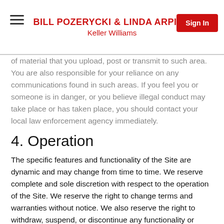BILL POZERYCKI & LINDA ARPINO
Keller Williams
of material that you upload, post or transmit to such area. You are also responsible for your reliance on any communications found in such areas. If you feel you or someone is in danger, or you believe illegal conduct may take place or has taken place, you should contact your local law enforcement agency immediately.
4. Operation
The specific features and functionality of the Site are dynamic and may change from time to time. We reserve complete and sole discretion with respect to the operation of the Site. We reserve the right to change terms and warranties without notice. We also reserve the right to withdraw, suspend, or discontinue any functionality or feature of the Site at any time.
5. Inaccuracies on the Site and Service and Property Listing Data
The Site...